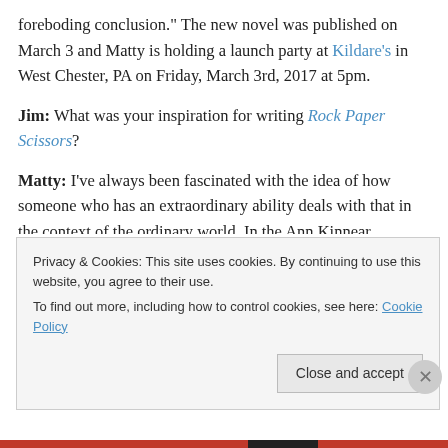foreboding conclusion.” The new novel was published on March 3 and Matty is holding a launch party at Kildare’s in West Chester, PA on Friday, March 3rd, 2017 at 5pm.
Jim: What was your inspiration for writing Rock Paper Scissors?
Matty: I’ve always been fascinated with the idea of how someone who has an extraordinary ability deals with that in the context of the ordinary world. In the Ann Kinnear Suspense Novels, The Sense of Death and The Sense of Reckoning, that extraordinary ability is the ability to sense
Privacy & Cookies: This site uses cookies. By continuing to use this website, you agree to their use. To find out more, including how to control cookies, see here: Cookie Policy
Close and accept